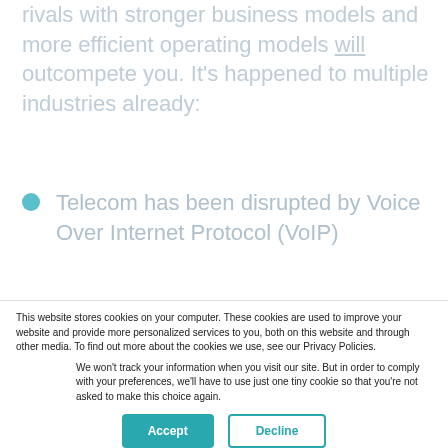rivals with stronger business models and more efficient operating models will outcompete you. It's happened to multiple industries already:
Telecom has been disrupted by Voice Over Internet Protocol (VoIP)
This website stores cookies on your computer. These cookies are used to improve your website and provide more personalized services to you, both on this website and through other media. To find out more about the cookies we use, see our Privacy Policies.
We won't track your information when you visit our site. But in order to comply with your preferences, we'll have to use just one tiny cookie so that you're not asked to make this choice again.